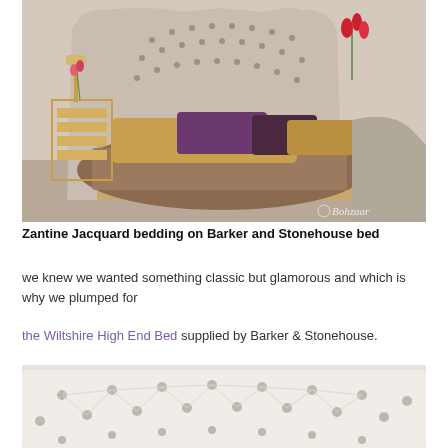[Figure (photo): Luxury bedroom scene showing a large upholstered wingback bed with button-tufted headboard in taupe/grey fabric, dressed with gold satin and dark purple velvet pillows and brown patterned duvet. A gold metallic side table with geometric design holds a lamp and flowers. Red amaryllis flowers in background. Bohzaar watermark in bottom right corner. Grey curved bed footboard visible on right side.]
Zantine Jacquard bedding on Barker and Stonehouse bed
we knew we wanted something classic but glamorous and which is why we plumped for
the Wiltshire High End Bed supplied by Barker & Stonehouse.
[Figure (photo): Close-up of a white upholstered bed headboard with diamond button tufting pattern. The headboard appears to be cream or white fabric with dark buttons creating a classic Chesterfield-style tufted design.]